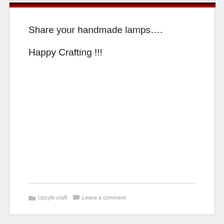[Figure (photo): Dark red and black banner image at the top of the blog post card]
Share your handmade lamps….
Happy Crafting !!!
Upcyle craft   Leave a comment